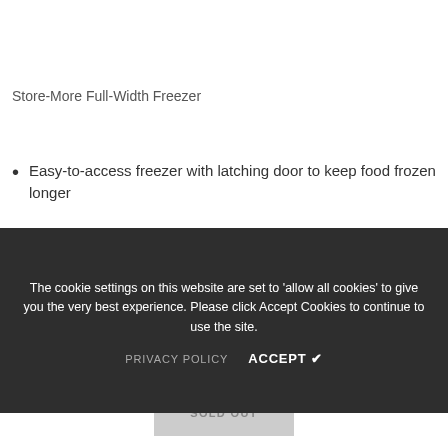Store-More Full-Width Freezer
Easy-to-access freezer with latching door to keep food frozen longer
The cookie settings on this website are set to 'allow all cookies' to give you the very best experience. Please click Accept Cookies to continue to use the site.
PRIVACY POLICY   ACCEPT ✔
Reversible Door Swing Option
SOLD OUT